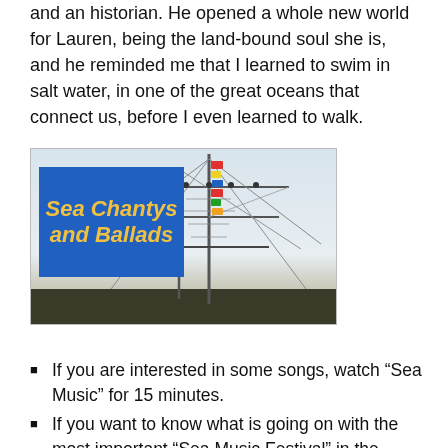and an historian. He opened a whole new world for Lauren, being the land-bound soul she is, and he reminded me that I learned to swim in salt water, in one of the great oceans that connect us, before I even learned to walk.
[Figure (photo): Photo of a tall ship's mast with rigging, sailors on the yards, and colorful signal flags. Overlaid in the upper left is a blue rectangle with italic gold/yellow text reading 'Sea Chantys and Ballads'.]
If you are interested in some songs, watch “Sea Music” for 15 minutes.
If you want to know what is going on with the most important “Sea Music Festival” in the world, watch the 20 minute cut, and then join us in Connecticut on June